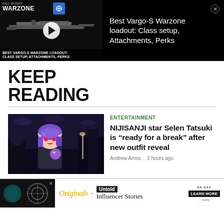[Figure (screenshot): Warzone video ad banner showing a gun and play button with text overlay 'BEST VARGO-S WARZONE LOADOUT: CLASS SETUP, ATTACHMENTS, PERKS']
Best Vargo-S Warzone loadout: Class setup, Attachments, Perks
KEEP READING
[Figure (illustration): Anime-style illustration of a purple-haired female VTuber character (Selen Tatsuki from NIJISANJI) holding a small purple creature, with a dark city background]
ENTERTAINMENT
NIJISANJI star Selen Tatsuki is “ready for a break” after new outfit reveal
Andrew Amos . 2 hours ago
[Figure (screenshot): Bottom advertisement banner showing Originals logo, Untold Influencer Stories ad with LEARN MORE button]